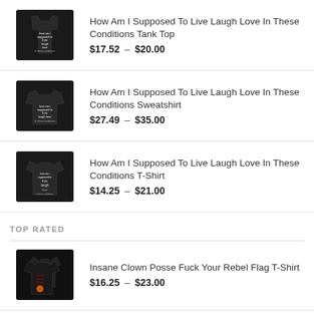How Am I Supposed To Live Laugh Love In These Conditions Tank Top $17.52 – $20.00
How Am I Supposed To Live Laugh Love In These Conditions Sweatshirt $27.49 – $35.00
How Am I Supposed To Live Laugh Love In These Conditions T-Shirt $14.25 – $21.00
TOP RATED
Insane Clown Posse Fuck Your Rebel Flag T-Shirt $16.25 – $23.00
Real Men Love Deltas Sweatshirt